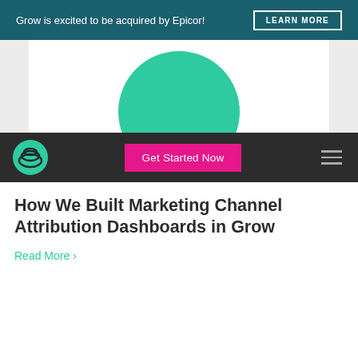Grow is excited to be acquired by Epicor! LEARN MORE
[Figure (logo): Grow logo - teal circular wave icon in dark navigation bar with Get Started Now pink button and hamburger menu]
[Figure (illustration): Partial green circle visible in white card against light grey background, cut off by nav bar]
How We Built Marketing Channel Attribution Dashboards in Grow
Read More ›